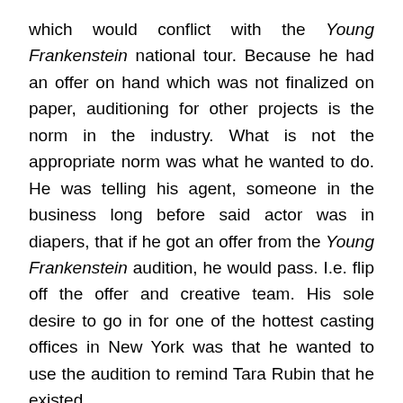which would conflict with the Young Frankenstein national tour. Because he had an offer on hand which was not finalized on paper, auditioning for other projects is the norm in the industry. What is not the appropriate norm was what he wanted to do. He was telling his agent, someone in the business long before said actor was in diapers, that if he got an offer from the Young Frankenstein audition, he would pass. I.e. flip off the offer and creative team. His sole desire to go in for one of the hottest casting offices in New York was that he wanted to use the audition to remind Tara Rubin that he existed.
W.T.F! Excuse me????!!!!!
As the conversation to my left continued, the agent's pulsating temples were joined in rhythm by her click-clack tapping of manicured finger nails upon the frosted glass of